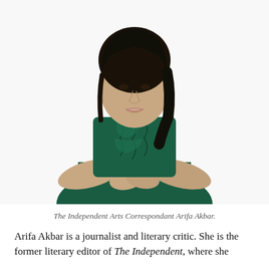[Figure (photo): Portrait photo of Arifa Akbar, a woman with dark hair wearing a dark green ruffled blouse, arms crossed, white background.]
The Independent Arts Correspondant Arifa Akbar.
Arifa Akbar is a journalist and literary critic. She is the former literary editor of The Independent, where she